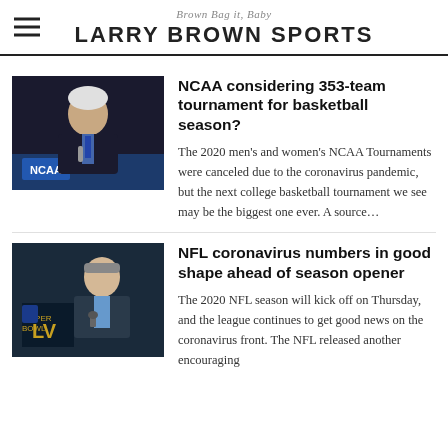Brown Bag it, Baby — LARRY BROWN SPORTS
[Figure (photo): Man in suit speaking at NCAA event]
NCAA considering 353-team tournament for basketball season?
The 2020 men's and women's NCAA Tournaments were canceled due to the coronavirus pandemic, but the next college basketball tournament we see may be the biggest one ever. A source…
[Figure (photo): Man speaking at NFL Super Bowl LV event]
NFL coronavirus numbers in good shape ahead of season opener
The 2020 NFL season will kick off on Thursday, and the league continues to get good news on the coronavirus front. The NFL released another encouraging